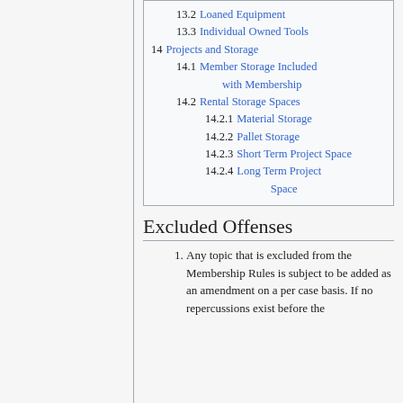13.2  Loaned Equipment
13.3  Individual Owned Tools
14  Projects and Storage
14.1  Member Storage Included with Membership
14.2  Rental Storage Spaces
14.2.1  Material Storage
14.2.2  Pallet Storage
14.2.3  Short Term Project Space
14.2.4  Long Term Project Space
Excluded Offenses
Any topic that is excluded from the Membership Rules is subject to be added as an amendment on a per case basis. If no repercussions exist before the